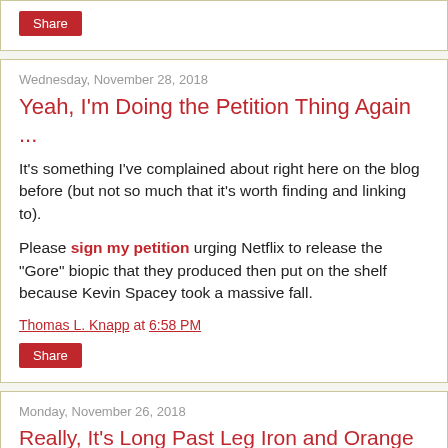Share
Wednesday, November 28, 2018
Yeah, I'm Doing the Petition Thing Again ...
It's something I've complained about right here on the blog before (but not so much that it's worth finding and linking to).
Please sign my petition urging Netflix to release the "Gore" biopic that they produced then put on the shelf because Kevin Spacey took a massive fall.
Thomas L. Knapp at 6:58 PM
Share
Monday, November 26, 2018
Really, It's Long Past Leg Iron and Orange Coverall Time for These Thugs